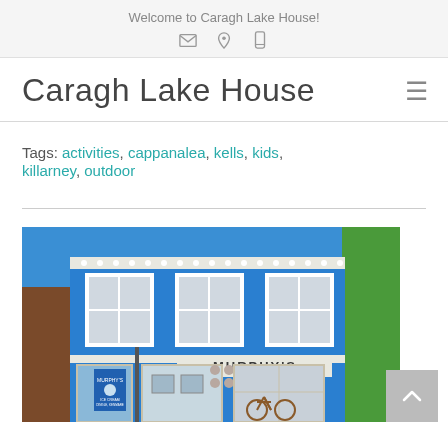Welcome to Caragh Lake House!
Caragh Lake House
Tags: activities, cappanalea, kells, kids, killarney, outdoor
[Figure (photo): Front facade of Murphy's ice cream shop, bright blue building with white window frames, three upper windows, shop signage reading MURPHY'S, and a bicycle parked outside]